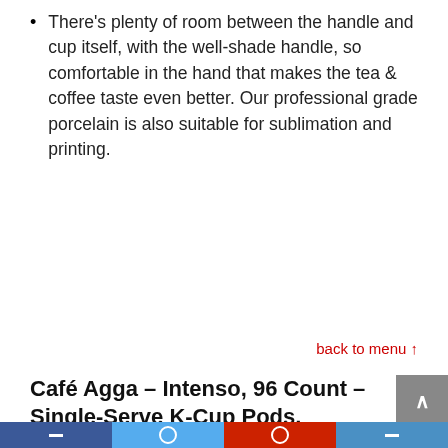There's plenty of room between the handle and cup itself, with the well-shade handle, so comfortable in the hand that makes the tea & coffee taste even better. Our professional grade porcelain is also suitable for sublimation and printing.
back to menu ↑
Café Agga – Intenso, 96 Count – Single-Serve K-Cup Pods, Compatible with Keurig 2.0 K-Cup Brewers